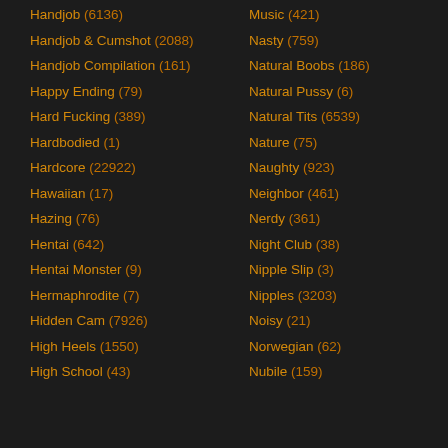Handjob (6136)
Handjob & Cumshot (2088)
Handjob Compilation (161)
Happy Ending (79)
Hard Fucking (389)
Hardbodied (1)
Hardcore (22922)
Hawaiian (17)
Hazing (76)
Hentai (642)
Hentai Monster (9)
Hermaphrodite (7)
Hidden Cam (7926)
High Heels (1550)
High School (43)
Music (421)
Nasty (759)
Natural Boobs (186)
Natural Pussy (6)
Natural Tits (6539)
Nature (75)
Naughty (923)
Neighbor (461)
Nerdy (361)
Night Club (38)
Nipple Slip (3)
Nipples (3203)
Noisy (21)
Norwegian (62)
Nubile (159)